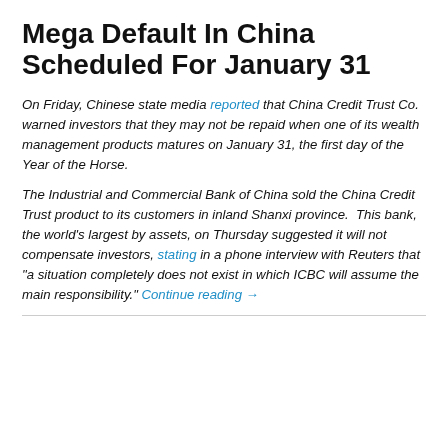Mega Default In China Scheduled For January 31
On Friday, Chinese state media reported that China Credit Trust Co. warned investors that they may not be repaid when one of its wealth management products matures on January 31, the first day of the Year of the Horse.
The Industrial and Commercial Bank of China sold the China Credit Trust product to its customers in inland Shanxi province.  This bank, the world's largest by assets, on Thursday suggested it will not compensate investors, stating in a phone interview with Reuters that "a situation completely does not exist in which ICBC will assume the main responsibility." Continue reading →